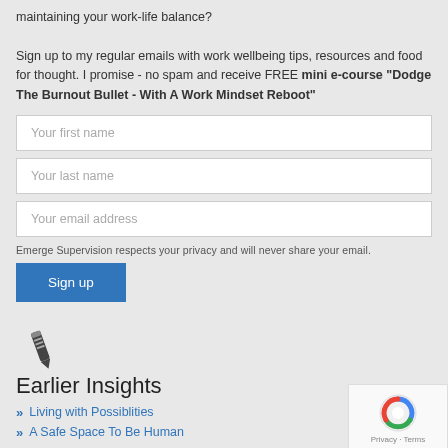maintaining your work-life balance?

Sign up to my regular emails with work wellbeing tips, resources and food for thought. I promise - no spam and receive FREE mini e-course "Dodge The Burnout Bullet - With A Work Mindset Reboot"
Your first name
Your last name
Your email address
Emerge Supervision respects your privacy and will never share your email.
Sign up
[Figure (illustration): Pencil/pen icon in dark gray color]
Earlier Insights
Living with Possiblities
A Safe Space To Be Human
[Figure (logo): reCAPTCHA logo with Privacy and Terms text]